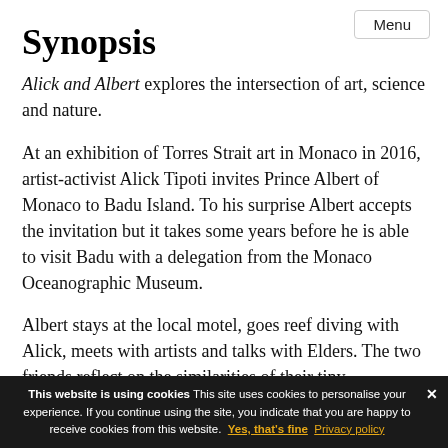Menu
Synopsis
Alick and Albert explores the intersection of art, science and nature.
At an exhibition of Torres Strait art in Monaco in 2016, artist-activist Alick Tipoti invites Prince Albert of Monaco to Badu Island. To his surprise Albert accepts the invitation but it takes some years before he is able to visit Badu with a delegation from the Monaco Oceanographic Museum.
Albert stays at the local motel, goes reef diving with Alick, meets with artists and talks with Elders. The two friends reflect on the similarities of their tiny communities, worlds...
This website is using cookies This site uses cookies to personalise your experience. If you continue using the site, you indicate that you are happy to receive cookies from this website. Yes, that's fine Privacy policy